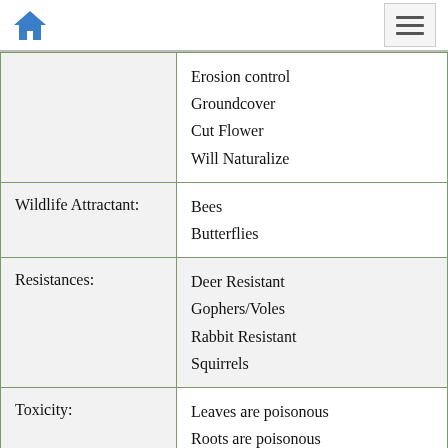Home / Menu navigation
| Property | Value |
| --- | --- |
|  | Erosion control
Groundcover
Cut Flower
Will Naturalize |
| Wildlife Attractant: | Bees
Butterflies |
| Resistances: | Deer Resistant
Gophers/Voles
Rabbit Resistant
Squirrels |
| Toxicity: | Leaves are poisonous
Roots are poisonous |
| Propagation: | Will not come true from seed |